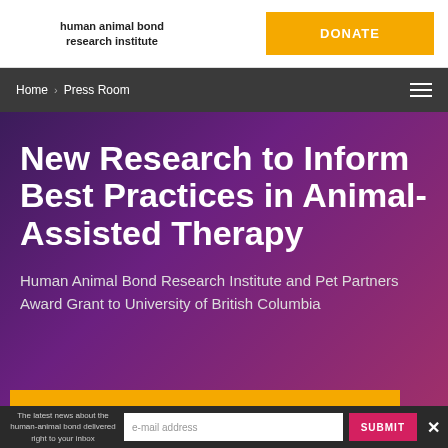human animal bond research institute | DONATE
Home > Press Room
New Research to Inform Best Practices in Animal-Assisted Therapy
Human Animal Bond Research Institute and Pet Partners Award Grant to University of British Columbia
DONATE
The latest news about the human-animal bond delivered right to your inbox | e-mail address | SUBMIT